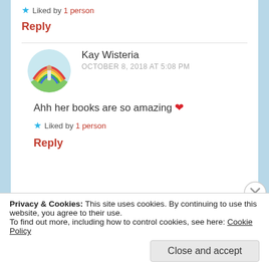★ Liked by 1 person
Reply
Kay Wisteria
OCTOBER 8, 2018 AT 5:08 PM
Ahh her books are so amazing ❤
★ Liked by 1 person
Reply
Privacy & Cookies: This site uses cookies. By continuing to use this website, you agree to their use. To find out more, including how to control cookies, see here: Cookie Policy
Close and accept